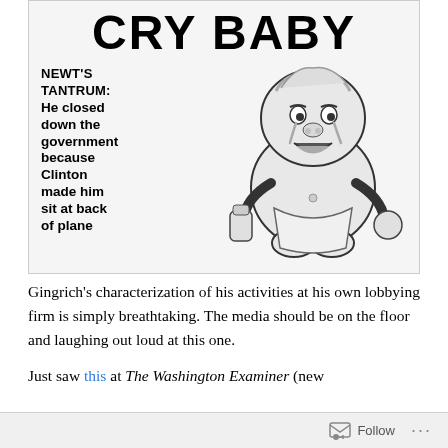[Figure (illustration): Newspaper cartoon showing a crying baby caricature with text 'CRY BABY' as headline, and subheadline: 'NEWT'S TANTRUM: He closed down the government because Clinton made him sit at back of plane']
Gingrich's characterization of his activities at his own lobbying firm is simply breathtaking. The media should be on the floor and laughing out loud at this one.
Just saw this at The Washington Examiner (new